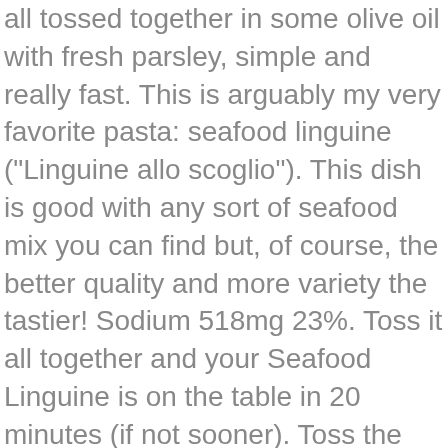all tossed together in some olive oil with fresh parsley, simple and really fast. This is arguably my very favorite pasta: seafood linguine ("Linguine allo scoglio"). This dish is good with any sort of seafood mix you can find but, of course, the better quality and more variety the tastier! Sodium 518mg 23%. Toss it all together and your Seafood Linguine is on the table in 20 minutes (if not sooner). Toss the seafood sauce with linguine or a similar pasta. Last Updated June 28, 2019. Heat the oil in a wok or large frying pan, then cook the onion and garlic over a medium heat for 5 mins until soft. It’s absolutely delicious and loaded with all kinds of seafood in a fresh and homemade seafood pasta … Delicate, delicious, and authentic seafood linguine which will transport you to Italy without leaving the country! Add the smashed garlic and cook over moderately high heat until fragrant, about 30 seconds. Thanks April, I know what you mean, living here, there is fish everywhere. https://myediblefood.com/italian-seafood-pasta-pescatore-recipe You can go wilder than me in this recipe! Values are not